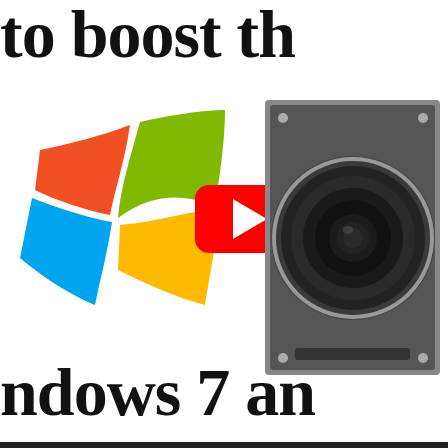to boost the
[Figure (illustration): Windows logo on the left, YouTube play button in the center, and a subwoofer speaker on the right, composited together on white background]
ndows 7 an